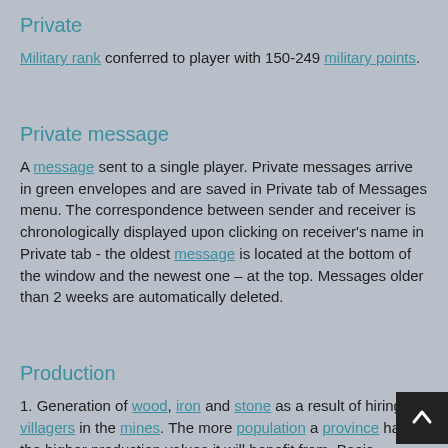Private
Military rank conferred to player with 150-249 military points.
Private message
A message sent to a single player. Private messages arrive in green envelopes and are saved in Private tab of Messages menu. The correspondence between sender and receiver is chronologically displayed upon clicking on receiver's name in Private tab - the oldest message is located at the bottom of the window and the newest one – at the top. Messages older than 2 weeks are automatically deleted.
Production
1. Generation of wood, iron and stone as a result of hiring villagers in the mines. The more population a province has, the higher production values it will benefit from. Basic production for 100 civilians: 20 wood / 20 iron / 20 stone, which can be enhanced by Premium, terrain bonuses, fortress levels, Bureaucracy and alliance research Production.
2. An alliance research whose levels add 2% more to the production of all alliance members.